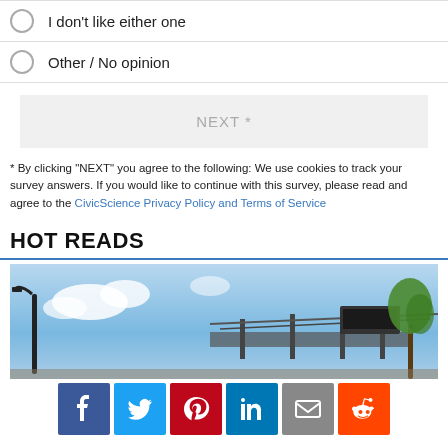I don't like either one
Other / No opinion
NEXT *
* By clicking "NEXT" you agree to the following: We use cookies to track your survey answers. If you would like to continue with this survey, please read and agree to the CivicScience Privacy Policy and Terms of Service
HOT READS
[Figure (photo): Outdoor photo showing a stadium or structure with steel framework, a street lamp, tree, and blue sky with clouds]
[Figure (infographic): Social sharing buttons: Facebook, Twitter, Pinterest, LinkedIn, Email, Reddit]